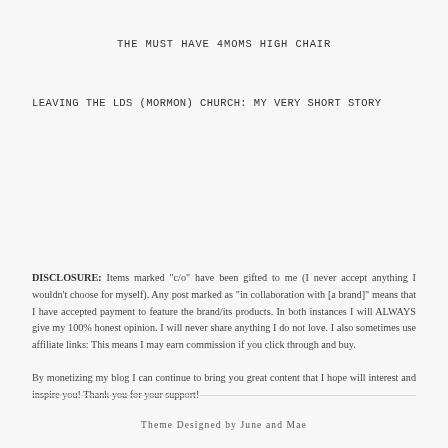THE MUST HAVE 4MOMS HIGH CHAIR
LEAVING THE LDS (MORMON) CHURCH: MY VERY SHORT STORY
DISCLOSURE: Items marked "c/o" have been gifted to me (I never accept anything I wouldn't choose for myself). Any post marked as "in collaboration with [a brand]" means that I have accepted payment to feature the brand/its products. In both instances I will ALWAYS give my 100% honest opinion. I will never share anything I do not love. I also sometimes use affiliate links: This means I may earn commission if you click through and buy.
By monetizing my blog I can continue to bring you great content that I hope will interest and inspire you! Thank you for your support!
Theme Designed by June and Mae